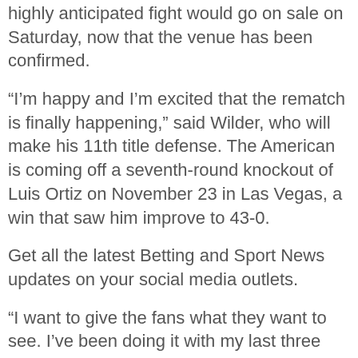highly anticipated fight would go on sale on Saturday, now that the venue has been confirmed.
“I’m happy and I’m excited that the rematch is finally happening,” said Wilder, who will make his 11th title defense. The American is coming off a seventh-round knockout of Luis Ortiz on November 23 in Las Vegas, a win that saw him improve to 43-0.
Get all the latest Betting and Sport News updates on your social media outlets.
“I want to give the fans what they want to see. I’ve been doing it with my last three outings — Fury, (Dominic) Breazeale and Ortiz,” he said. “They’ve been spectacular events — from my